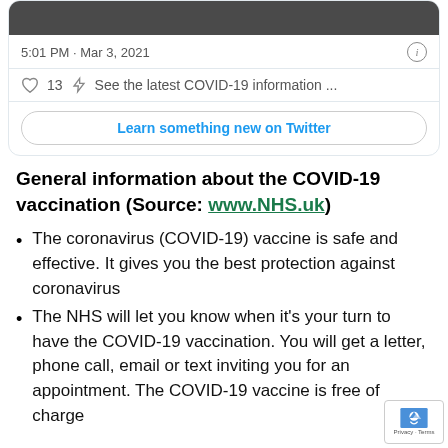[Figure (screenshot): Top portion of a Twitter card showing a dark image bar at top, tweet timestamp '5:01 PM · Mar 3, 2021' with info icon, heart (13 likes) and bolt icon with 'See the latest COVID-19 information ...' text, and a 'Learn something new on Twitter' button.]
General information about the COVID-19 vaccination (Source: www.NHS.uk)
The coronavirus (COVID-19) vaccine is safe and effective. It gives you the best protection against coronavirus
The NHS will let you know when it's your turn to have the COVID-19 vaccination. You will get a letter, phone call, email or text inviting you for an appointment. The COVID-19 vaccine is free of charge